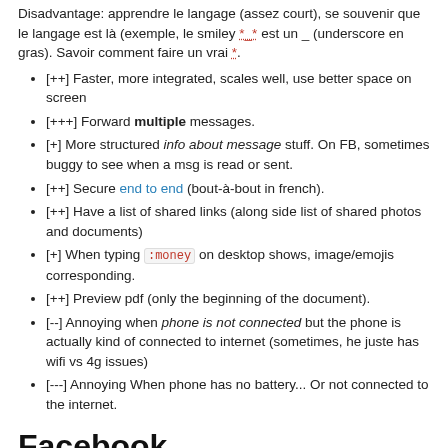Disadvantage: apprendre le langage (assez court), se souvenir que le langage est là (exemple, le smiley *_* est un _ (underscore en gras). Savoir comment faire un vrai *.
[++] Faster, more integrated, scales well, use better space on screen
[+++] Forward multiple messages.
[+] More structured info about message stuff. On FB, sometimes buggy to see when a msg is read or sent.
[++] Secure end to end (bout-à-bout in french).
[++] Have a list of shared links (along side list of shared photos and documents)
[+] When typing :money on desktop shows, image/emojis corresponding.
[++] Preview pdf (only the beginning of the document).
[--] Annoying when phone is not connected but the phone is actually kind of connected to internet (sometimes, he juste has wifi vs 4g issues)
[---] Annoying When phone has no battery... Or not connected to the internet.
Facebook